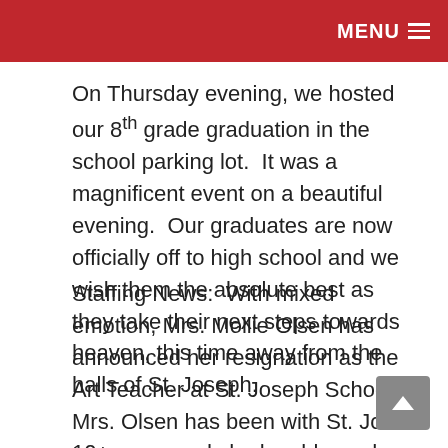MENU
On Thursday evening, we hosted our 8th grade graduation in the school parking lot.  It was a magnificent event on a beautiful evening.  Our graduates are now officially off to high school and we wish them the absolute best as they take their next steps towards heaven, this time away from the halls of St. Joseph.
Staffing News:  With mixed emotion, Mrs. Mollie Olsen has announced her resignation as the Art Teacher at St. Joseph School.  Mrs. Olsen has been with St. Joe's 10+ years and she has blessed our school and our students with amazing work over that period of time.  We are so grateful for her...